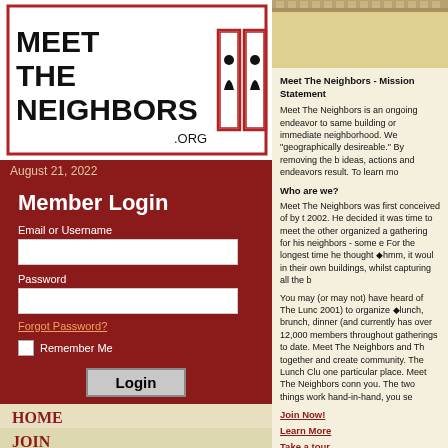[Figure (logo): Meet The Neighbors .org logo with silhouette figures in doorways]
August 21, 2022
Member Login
Email or Username
Password
Forgot Password?
Remember Me
Home
Join
About Us
News
FAQs
[Figure (illustration): Building facade illustration at top of right column]
Meet The Neighbors - Mission Statement
Meet The Neighbors is an ongoing endeavor to same building or immediate neighborhood. We "geographically desireable." By removing the b ideas, actions and endeavors result. To learn mo
Who are we?
Meet The Neighbors was first conceived of by t 2002. He decided it was time to meet the other organized a gathering for his neighbors - some e For the longest time he thought ●hmm, it woul in their own buildings, whilst capturing all the b
You may (or may not) have heard of The Lunc 2001) to organize ●lunch, brunch, dinner (and currently has over 12,000 members throughout gatherings to date. Meet The Neighbors and Th together and create community. The Lunch Clu one particular place. Meet The Neighbors conn you. The two things work hand-in-hand, you se
Join Now!
Learn More
Take a tour